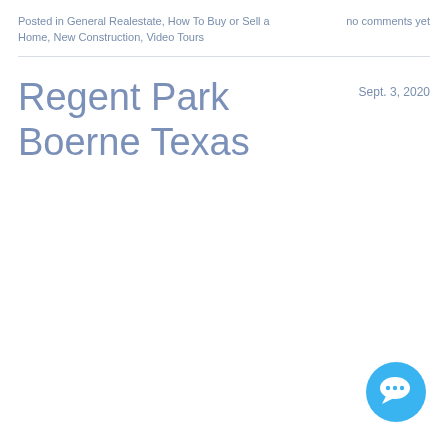Posted in General Realestate, How To Buy or Sell a Home, New Construction, Video Tours
no comments yet
Regent Park Boerne Texas
Sept. 3, 2020
[Figure (illustration): Blue circular chat bubble icon in bottom right corner]